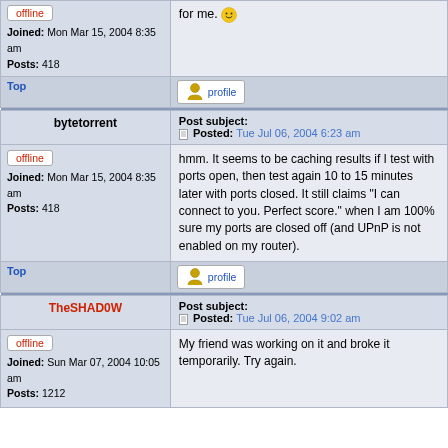for me. 😀
Joined: Mon Mar 15, 2004 8:35 am
Posts: 418
Top | profile
bytetorrent
Post subject: Posted: Tue Jul 06, 2004 6:23 am
offline
Joined: Mon Mar 15, 2004 8:35 am
Posts: 418
hmm. It seems to be caching results if I test with ports open, then test again 10 to 15 minutes later with ports closed. It still claims "I can connect to you. Perfect score." when I am 100% sure my ports are closed off (and UPnP is not enabled on my router).
Top | profile
TheSHAD0W
Post subject: Posted: Tue Jul 06, 2004 9:02 am
offline
Joined: Sun Mar 07, 2004 10:05 am
Posts: 1212
My friend was working on it and broke it temporarily. Try again.